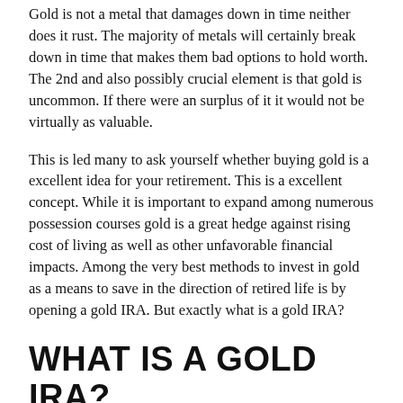Gold is not a metal that damages down in time neither does it rust. The majority of metals will certainly break down in time that makes them bad options to hold worth. The 2nd and also possibly crucial element is that gold is uncommon. If there were an surplus of it it would not be virtually as valuable.
This is led many to ask yourself whether buying gold is a excellent idea for your retirement. This is a excellent concept. While it is important to expand among numerous possession courses gold is a great hedge against rising cost of living as well as other unfavorable financial impacts. Among the very best methods to invest in gold as a means to save in the direction of retired life is by opening a gold IRA. But exactly what is a gold IRA?
WHAT IS A GOLD IRA?